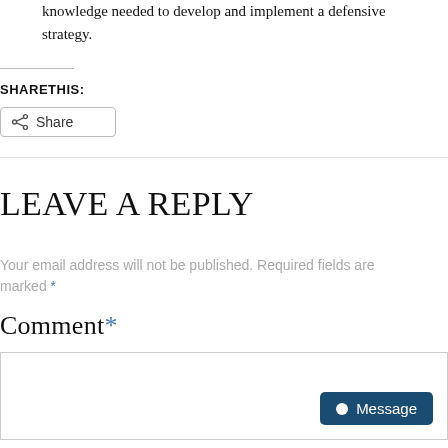knowledge needed to develop and implement a defensive strategy.
SHARETHIS:
Share
LEAVE A REPLY
Your email address will not be published. Required fields are marked *
Comment *
Message